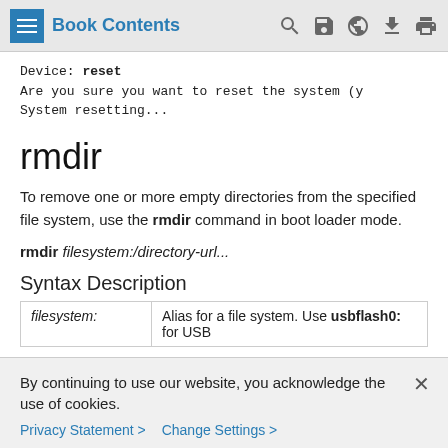Book Contents
Device: reset
Are you sure you want to reset the system (y
System resetting...
rmdir
To remove one or more empty directories from the specified file system, use the rmdir command in boot loader mode.
rmdir filesystem:/directory-url...
Syntax Description
| filesystem: | Description |
| --- | --- |
| filesystem: | Alias for a file system. Use usbflash0: for USB |
By continuing to use our website, you acknowledge the use of cookies.
Privacy Statement > Change Settings >